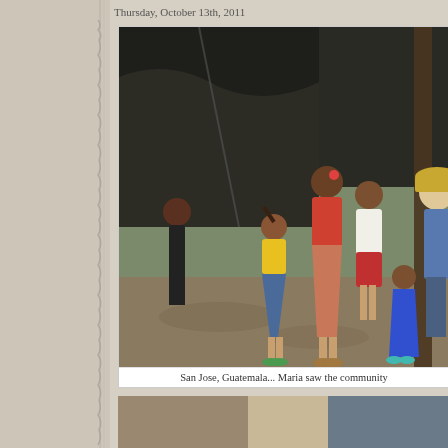Thursday, October 13th, 2011
[Figure (photo): Group of children and a woman with a hat standing outside a makeshift shelter covered with a dark tarp in San Jose, Guatemala. A girl in a yellow shirt and denim skirt stands in the center, with older girls in red and white clothing, and a small child in a blue dress to the right. A Western woman in a blue shirt and hat stands at the far right.]
San Jose, Guatemala... Maria saw the community
[Figure (photo): Partial bottom strip showing another photo, mostly cut off.]